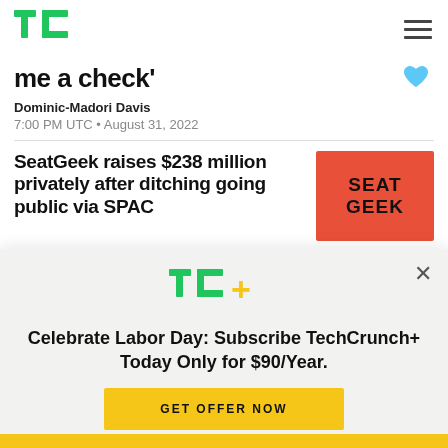TechCrunch
me a check'
Dominic-Madori Davis
7:00 PM UTC • August 31, 2022
SeatGeek raises $238 million privately after ditching going public via SPAC
[Figure (logo): SeatGeek logo on red/orange background]
[Figure (logo): TechCrunch+ logo (TC+ green and yellow)]
Celebrate Labor Day: Subscribe TechCrunch+ Today Only for $90/Year.
GET OFFER NOW